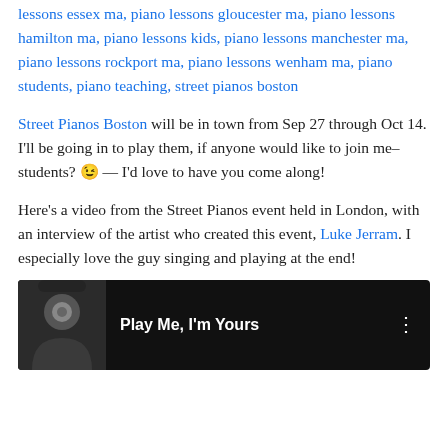lessons essex ma, piano lessons gloucester ma, piano lessons hamilton ma, piano lessons kids, piano lessons manchester ma, piano lessons rockport ma, piano lessons wenham ma, piano students, piano teaching, street pianos boston
Street Pianos Boston will be in town from Sep 27 through Oct 14. I'll be going in to play them, if anyone would like to join me–students? 😉 — I'd love to have you come along!
Here's a video from the Street Pianos event held in London, with an interview of the artist who created this event, Luke Jerram. I especially love the guy singing and playing at the end!
[Figure (screenshot): Video thumbnail showing a person in a dark hat, with white text 'Play Me, I'm Yours' on a dark background, and a three-dot menu icon on the right.]